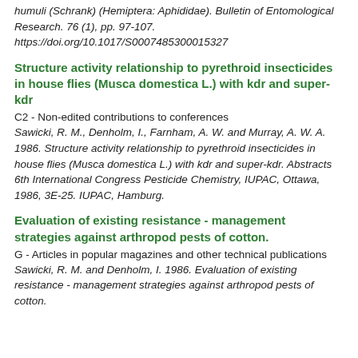humuli (Schrank) (Hemiptera: Aphididae). Bulletin of Entomological Research. 76 (1), pp. 97-107. https://doi.org/10.1017/S0007485300015327
Structure activity relationship to pyrethroid insecticides in house flies (Musca domestica L.) with kdr and super-kdr
C2 - Non-edited contributions to conferences
Sawicki, R. M., Denholm, I., Farnham, A. W. and Murray, A. W. A. 1986. Structure activity relationship to pyrethroid insecticides in house flies (Musca domestica L.) with kdr and super-kdr. Abstracts 6th International Congress Pesticide Chemistry, IUPAC, Ottawa, 1986, 3E-25. IUPAC, Hamburg.
Evaluation of existing resistance - management strategies against arthropod pests of cotton.
G - Articles in popular magazines and other technical publications
Sawicki, R. M. and Denholm, I. 1986. Evaluation of existing resistance - management strategies against arthropod pests of cotton.